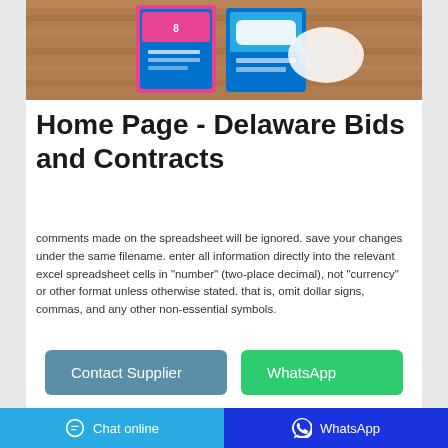[Figure (photo): Product image showing sanitary pads/feminine hygiene products on a wooden surface background]
Home Page - Delaware Bids and Contracts
comments made on the spreadsheet will be ignored. save your changes under the same filename. enter all information directly into the relevant excel spreadsheet cells in "number" (two-place decimal), not "currency" or other format unless otherwise stated. that is, omit dollar signs, commas, and any other non-essential symbols.
Contact Supplier
WhatsApp
Chat online   WhatsApp